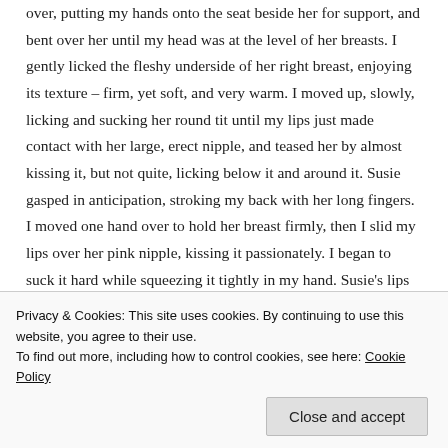over, putting my hands onto the seat beside her for support, and bent over her until my head was at the level of her breasts. I gently licked the fleshy underside of her right breast, enjoying its texture – firm, yet soft, and very warm. I moved up, slowly, licking and sucking her round tit until my lips just made contact with her large, erect nipple, and teased her by almost kissing it, but not quite, licking below it and around it. Susie gasped in anticipation, stroking my back with her long fingers. I moved one hand over to hold her breast firmly, then I slid my lips over her pink nipple, kissing it passionately. I began to suck it hard while squeezing it tightly in my hand. Susie's lips quivered in excitement as she arched her back to
Privacy & Cookies: This site uses cookies. By continuing to use this website, you agree to their use.
To find out more, including how to control cookies, see here: Cookie Policy